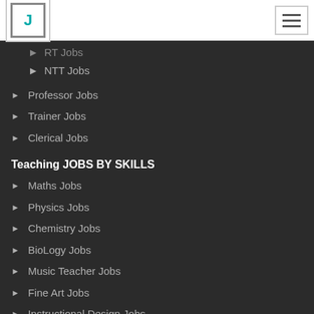[Figure (logo): J logo in bracket frame]
RT Jobs
NTT Jobs
Professor Jobs
Trainer Jobs
Clerical Jobs
Teaching JOBS BY SKILLS
Maths Jobs
Physics Jobs
Chemistry Jobs
BioLogy Jobs
Music Teacher Jobs
Fine Art Jobs
Instructional Design Jobs
English Jobs
Commerce Jobs
Accounts Jobs
Physical Education Jobs
Computer Jobs